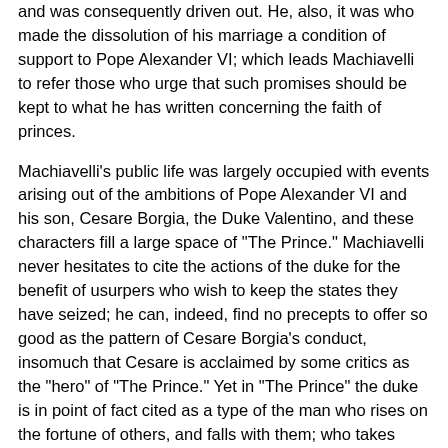and was consequently driven out. He, also, it was who made the dissolution of his marriage a condition of support to Pope Alexander VI; which leads Machiavelli to refer those who urge that such promises should be kept to what he has written concerning the faith of princes.
Machiavelli's public life was largely occupied with events arising out of the ambitions of Pope Alexander VI and his son, Cesare Borgia, the Duke Valentino, and these characters fill a large space of "The Prince." Machiavelli never hesitates to cite the actions of the duke for the benefit of usurpers who wish to keep the states they have seized; he can, indeed, find no precepts to offer so good as the pattern of Cesare Borgia's conduct, insomuch that Cesare is acclaimed by some critics as the "hero" of "The Prince." Yet in "The Prince" the duke is in point of fact cited as a type of the man who rises on the fortune of others, and falls with them; who takes every course that might be expected from a prudent man but the course which will save him; who is prepared for all eventualities but the one which happens; and who, when all his abilities fail to carry him through, exclaims that it was not his fault, but an extraordinary and unforeseen fatality.